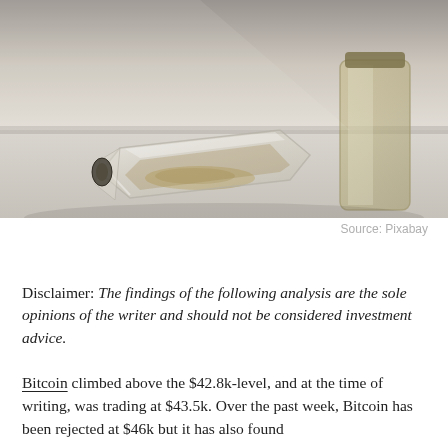[Figure (photo): A glass bottle or container lying on its side on a light-colored surface, with what appears to be sand or spice spilled out. Another glass bottle is partially visible in the upper right. Muted, blurred background in grays and browns.]
Source: Pixabay
Disclaimer: The findings of the following analysis are the sole opinions of the writer and should not be considered investment advice.
Bitcoin climbed above the $42.8k-level, and at the time of writing, was trading at $43.5k. Over the past week, Bitcoin has been rejected at $46k but it has also found support around at the $41.8k-$43k area. If BTC bulls could b...